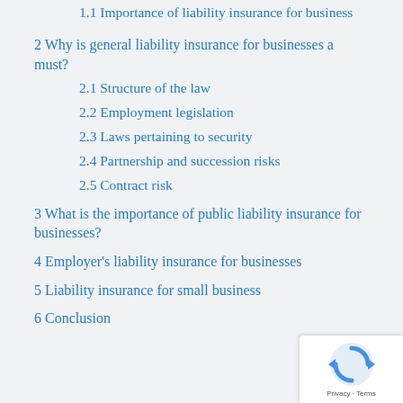1.1 Importance of liability insurance for business
2 Why is general liability insurance for businesses a must?
2.1 Structure of the law
2.2 Employment legislation
2.3 Laws pertaining to security
2.4 Partnership and succession risks
2.5 Contract risk
3 What is the importance of public liability insurance for businesses?
4 Employer's liability insurance for businesses
5 Liability insurance for small business
6 Conclusion